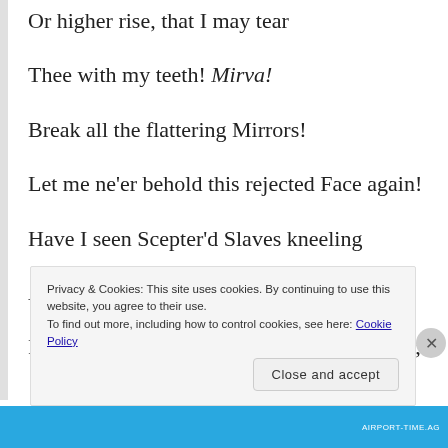Or higher rise, that I may tear
Thee with my teeth! Mirva!
Break all the flattering Mirrors!
Let me ne'er behold this rejected Face again!
Have I seen Scepter'd Slaves kneeling
At my feet, forgetting they were Kings,
Forgetful of their Gods, calling alone on me;
Privacy & Cookies: This site uses cookies. By continuing to use this website, you agree to their use. To find out more, including how to control cookies, see here: Cookie Policy
Close and accept